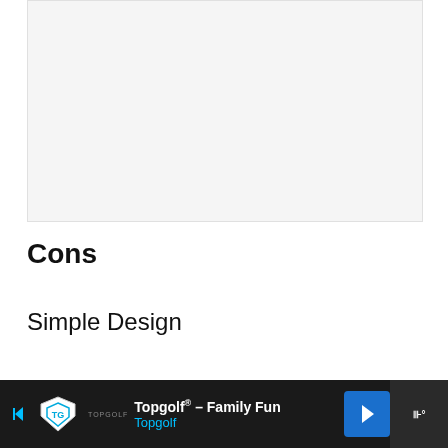[Figure (other): Light gray rectangular placeholder image area]
Cons
Simple Design
Expensive
[Figure (other): Advertisement banner: Topgolf® - Family Fun, Topgolf logo with shield icon, blue navigation arrow, mute button]